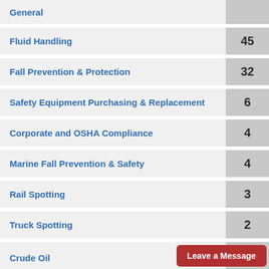General
Fluid Handling
Fall Prevention & Protection
Safety Equipment Purchasing & Replacement
Corporate and OSHA Compliance
Marine Fall Prevention & Safety
Rail Spotting
Truck Spotting
Crude Oil